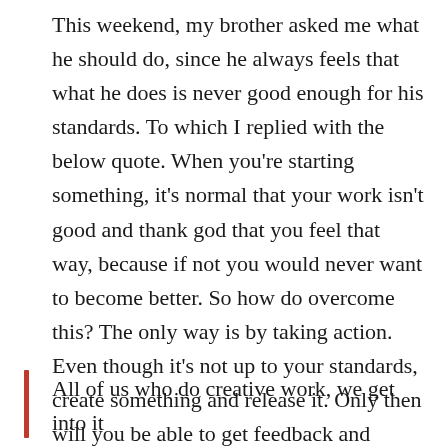This weekend, my brother asked me what he should do, since he always feels that what he does is never good enough for his standards. To which I replied with the below quote. When you're starting something, it's normal that your work isn't good and thank god that you feel that way, because if not you would never want to become better. So how do overcome this? The only way is by taking action. Even though it's not up to your standards, create something and release it. Only then will you be able to get feedback and slowly you'll become better and better and better.
All of us who do creative work, we get into it